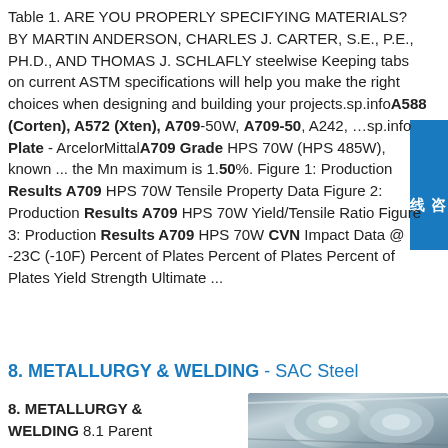Table 1. ARE YOU PROPERLY SPECIFYING MATERIALS? BY MARTIN ANDERSON, CHARLES J. CARTER, S.E., P.E., PH.D., AND THOMAS J. SCHLAFLY steelwise Keeping tabs on current ASTM specifications will help you make the right choices when designing and building your projects.sp.infoA588 (Corten), A572 (Xten), A709-50W, A709-50, A242, …sp.info Plate - ArcelorMittalA709 Grade HPS 70W (HPS 485W), known ... the Mn maximum is 1.50%. Figure 1: Production Results A709 HPS 70W Tensile Property Data Figure 2: Production Results A709 HPS 70W Yield/Tensile Ratio Figure 3: Production Results A709 HPS 70W CVN Impact Data @ -23C (-10F) Percent of Plates Percent of Plates Percent of Plates Yield Strength Ultimate ...
8. METALLURGY & WELDING - SAC Steel
8. METALLURGY & WELDING 8.1 Parent
[Figure (photo): Photo of steel coils/rolls]